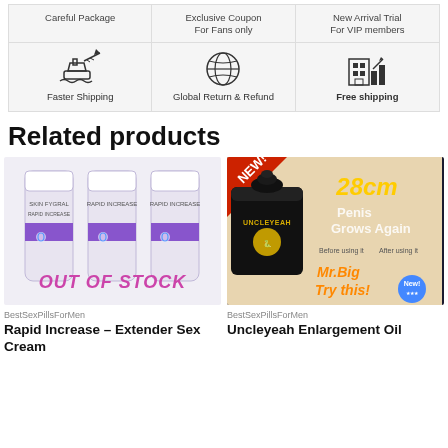[Figure (infographic): 3-column features grid with icons: Careful Package (top row text), Exclusive Coupon For Fans only, New Arrival Trial For VIP members; icons row: ship/plane icon, globe icon, building/chart icon; labels: Faster Shipping, Global Return & Refund, Free shipping]
Related products
[Figure (photo): Product image: three white tubes with purple labels showing a cream product, overlaid with OUT OF STOCK text in pink/magenta]
BestSexPillsForMen
Rapid Increase – Extender Sex Cream
[Figure (photo): Product image: Black jar of UNCLEYEAH enlargement oil with marketing graphics showing 28cm, Penis Grows Again, Before/After diagrams, Mr.Big Try this! New! badge]
BestSexPillsForMen
Uncleyeah Enlargement Oil